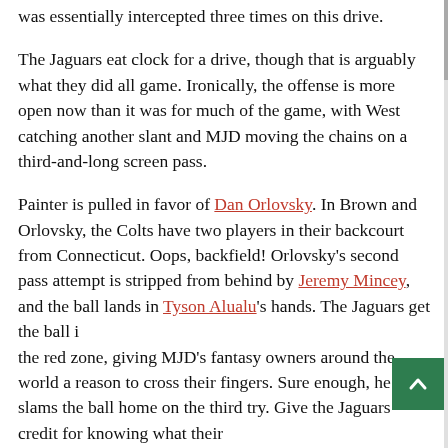was essentially intercepted three times on this drive.
The Jaguars eat clock for a drive, though that is arguably what they did all game. Ironically, the offense is more open now than it was for much of the game, with West catching another slant and MJD moving the chains on a third-and-long screen pass.
Painter is pulled in favor of Dan Orlovsky. In Brown and Orlovsky, the Colts have two players in their backcourt from Connecticut. Oops, backfield! Orlovsky's second pass attempt is stripped from behind by Jeremy Mincey, and the ball lands in Tyson Alualu's hands. The Jaguars get the ball in the red zone, giving MJD's fantasy owners around the world a reason to cross their fingers. Sure enough, he slams the ball home on the third try. Give the Jaguars credit for knowing what their